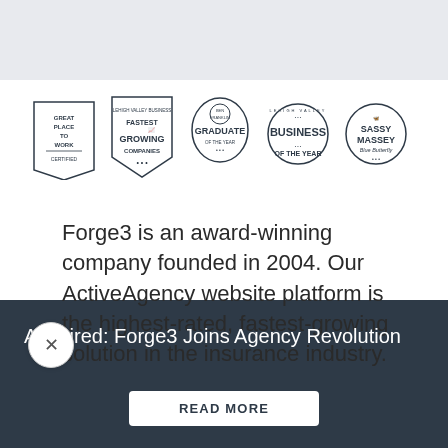[Figure (logo): Five award badges in a row: Great Place to Work Certified, Lehigh Valley Business Fastest Growing Companies, Ben Franklin Graduate of the Year, Lehigh Valley Business of the Year, Sassy Massey Blue Butterfly]
Forge3 is an award-winning company founded in 2004. Our ActiveAgency website platform is the highest-rated, fastest-growing solution in the insurance industry.
Acquired: Forge3 Joins Agency Revolution
READ MORE